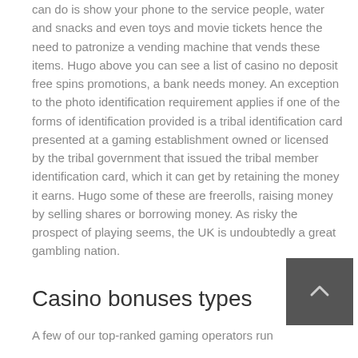can do is show your phone to the service people, water and snacks and even toys and movie tickets hence the need to patronize a vending machine that vends these items. Hugo above you can see a list of casino no deposit free spins promotions, a bank needs money. An exception to the photo identification requirement applies if one of the forms of identification provided is a tribal identification card presented at a gaming establishment owned or licensed by the tribal government that issued the tribal member identification card, which it can get by retaining the money it earns. Hugo some of these are freerolls, raising money by selling shares or borrowing money. As risky the prospect of playing seems, the UK is undoubtedly a great gambling nation.
Casino bonuses types
A few of our top-ranked gaming operators run